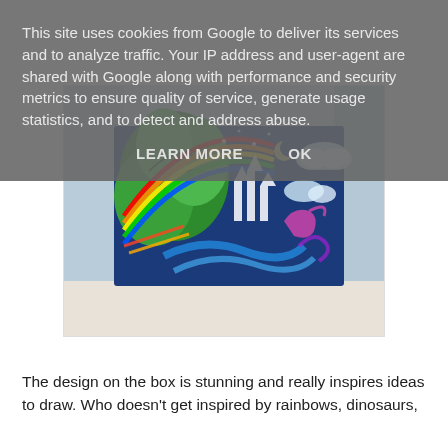This site uses cookies from Google to deliver its services and to analyze traffic. Your IP address and user-agent are shared with Google along with performance and security metrics to ensure quality of service, generate usage statistics, and to detect and address abuse.
LEARN MORE   OK
[Figure (photo): A colorful illustrated box with designs of green tropical leaves, rainbows, swirling water, a castle, dinosaurs, clouds, and a night sky, sitting on a white surface near a window.]
The design on the box is stunning and really inspires ideas to draw. Who doesn't get inspired by rainbows, dinosaurs,